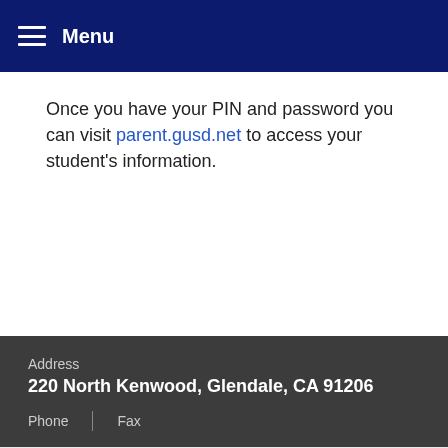Menu
Once you have your PIN and password you can visit parent.gusd.net to access your student's information.
Address
220 North Kenwood, Glendale, CA 91206
Phone | Fax
View Full Site